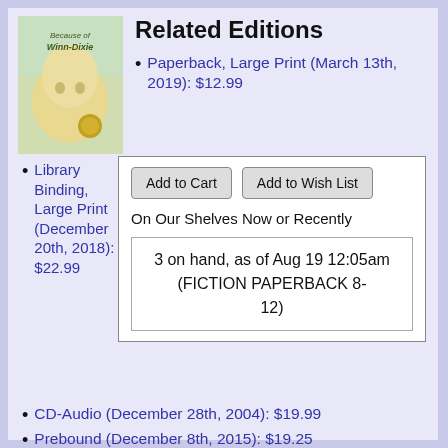[Figure (photo): Book cover of 'Because of Winn-Dixie' showing a dog on the cover]
Related Editions
Paperback, Large Print (March 13th, 2019): $12.99
Library Binding, Large Print (December 20th, 2018): $22.99
Add to Cart
Add to Wish List
On Our Shelves Now or Recently
3 on hand, as of Aug 19 12:05am
(FICTION PAPERBACK 8-12)
CD-Audio (December 28th, 2004): $19.99
Prebound (December 8th, 2015): $19.25
Paperback (December 8th, 2015): $7.99
Paperback (Chinese) (September 1st, 2014): $30.80